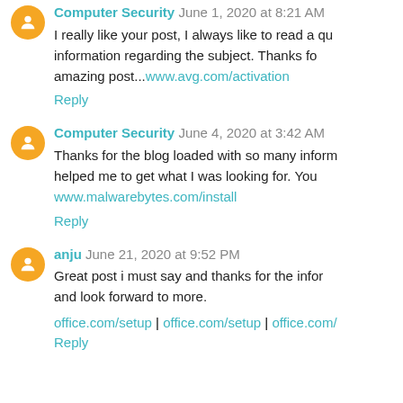Computer Security June 1, 2020 at 8:21 AM
I really like your post, I always like to read a quality information regarding the subject. Thanks for the amazing post...www.avg.com/activation
Reply
Computer Security June 4, 2020 at 3:42 AM
Thanks for the blog loaded with so many information. It helped me to get what I was looking for. You... www.malwarebytes.com/install
Reply
anju June 21, 2020 at 9:52 PM
Great post i must say and thanks for the information. and look forward to more.
office.com/setup | office.com/setup | office.com/...
Reply